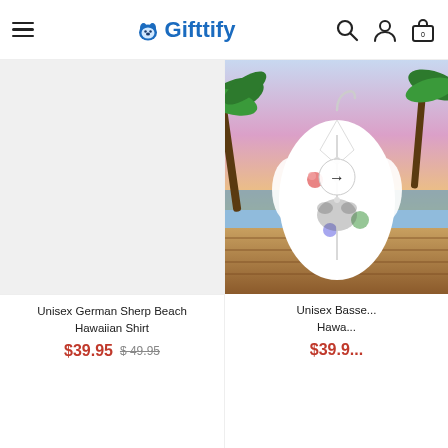Gifttify
[Figure (photo): Left product: blank/white product image placeholder for Unisex German Sherp Beach Hawaiian Shirt]
Unisex German Sherp Beach Hawaiian Shirt
$39.95  $49.95
[Figure (photo): Right product: Hawaiian shirt displayed in a beach scene with palm trees and colorful tropical background. Shirt is white with floral and dog prints. Arrow/next button overlay visible.]
Unisex Basse... Hawa...
$39.9...